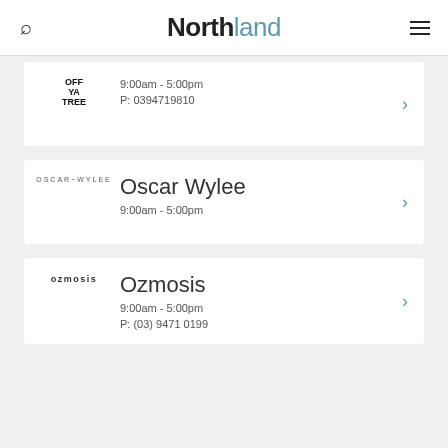Northland
Off Ya Tree
9:00am - 5:00pm
P: 0394719810
Oscar Wylee
9:00am - 5:00pm
Ozmosis
9:00am - 5:00pm
P: (03) 9471 0199